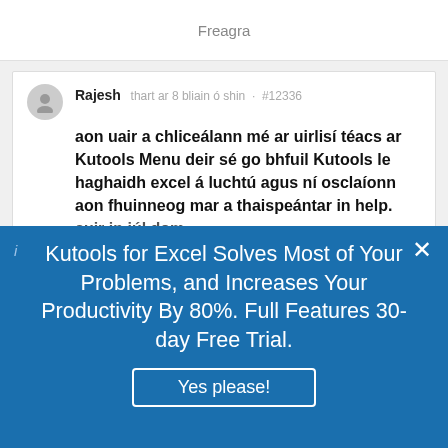Freagra
Rajesh  thart ar 8 bliain ó shin  ·  #12336
aon uair a chliceálann mé ar uirlisí téacs ar Kutools Menu deir sé go bhfuil Kutools le haghaidh excel á luchtú agus ní osclaíonn aon fhuinneog mar a thaispeántar in help. cuir in iúl dom
Kutools for Excel Solves Most of Your Problems, and Increases Your Productivity By 80%. Full Features 30-day Free Trial.
Yes please!